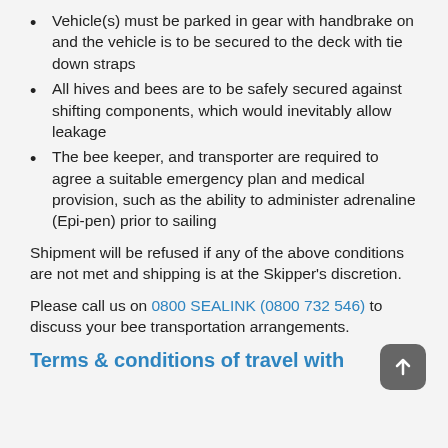Vehicle(s) must be parked in gear with handbrake on and the vehicle is to be secured to the deck with tie down straps
All hives and bees are to be safely secured against shifting components, which would inevitably allow leakage
The bee keeper, and transporter are required to agree a suitable emergency plan and medical provision, such as the ability to administer adrenaline (Epi-pen) prior to sailing
Shipment will be refused if any of the above conditions are not met and shipping is at the Skipper's discretion.
Please call us on 0800 SEALINK (0800 732 546) to discuss your bee transportation arrangements.
Terms & conditions of travel with